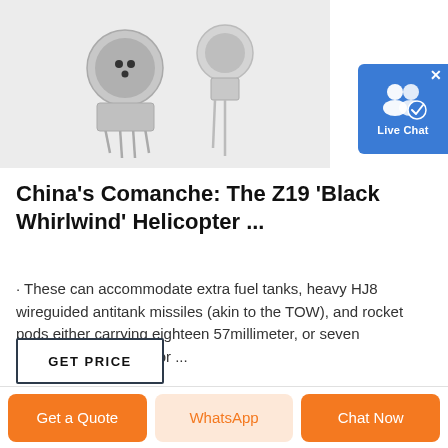[Figure (photo): Two metal electronic components (transistors or sensors) with metal pins on a light gray background]
[Figure (other): Live Chat button widget with blue background, white user/group icon with checkmark, and 'Live Chat' text]
China's Comanche: The Z19 'Black Whirlwind' Helicopter ...
· These can accommodate extra fuel tanks, heavy HJ8 wireguided antitank missiles (akin to the TOW), and rocket pods either carrying eighteen 57millimeter, or seven 90millimeter rockets for ...
GET PRICE
Get a Quote
WhatsApp
Chat Now